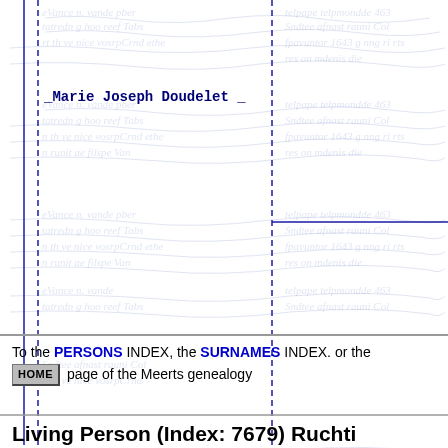[Figure (other): Background manuscript page with handwritten text in old script, faded blue/gray color, with vertical dashed blue lines forming columns and a horizontal blue line. Name label 'Marie Joseph Doudelet' in monospace bold blue text overlaid on upper left of manuscript.]
To the PERSONS INDEX, the SURNAMES INDEX. or the HOME page of the Meerts genealogy
Living Person (Index: 7679) Ruchti